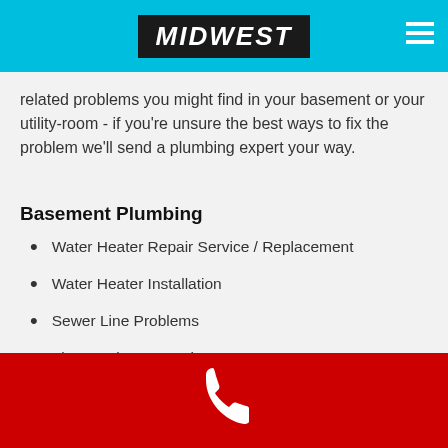MIDWEST
related problems you might find in your basement or your utility-room - if you're unsure the best ways to fix the problem we'll send a plumbing expert your way.
Basement Plumbing
Water Heater Repair Service / Replacement
Water Heater Installation
Sewer Line Problems
Floor Drainage Service
Frozen Pipes
Main Sewer Line Repair
Sump Pump Repair
Sump Pump Installation
Washing Machines
[Figure (other): Red bottom bar with white phone icon]